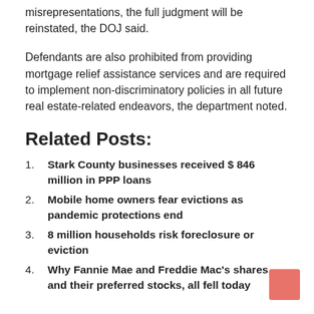misrepresentations, the full judgment will be reinstated, the DOJ said.
Defendants are also prohibited from providing mortgage relief assistance services and are required to implement non-discriminatory policies in all future real estate-related endeavors, the department noted.
Related Posts:
Stark County businesses received $ 846 million in PPP loans
Mobile home owners fear evictions as pandemic protections end
8 million households risk foreclosure or eviction
Why Fannie Mae and Freddie Mac's shares, and their preferred stocks, all fell today